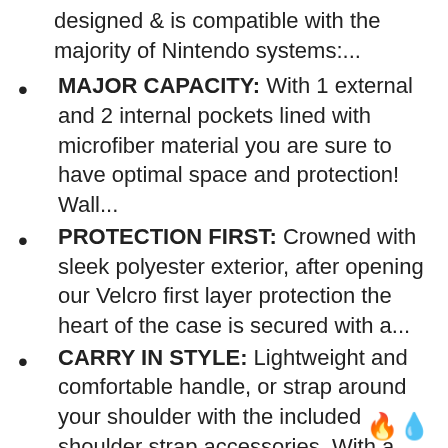designed & is compatible with the majority of Nintendo systems:...
MAJOR CAPACITY: With 1 external and 2 internal pockets lined with microfiber material you are sure to have optimal space and protection! Wall...
PROTECTION FIRST: Crowned with sleek polyester exterior, after opening our Velcro first layer protection the heart of the case is secured with a...
CARRY IN STYLE: Lightweight and comfortable handle, or strap around your shoulder with the included shoulder strap accessories. With a variety of...
OFFICIALLY LICENSED: Dress your Nintendo system with Official Nintendo Clothing! Highest quality material and designed specifically for Nintendo...